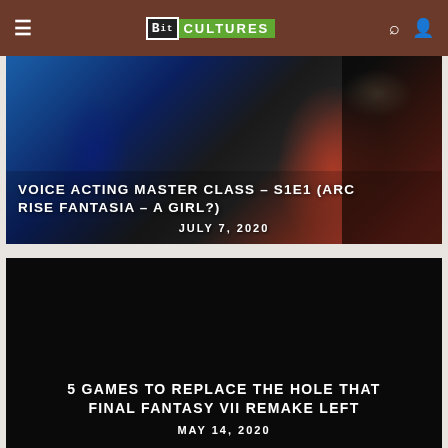Bit Cultures
[Figure (screenshot): Article card with anime/game artwork background for Arc Rise Fantasia showing anime characters in blue and red tones]
VOICE ACTING MASTER CLASS – S1E1 (ARC RISE FANTASIA – A GIRL?)
JULY 7, 2020
[Figure (screenshot): Article card with black/dark background for 5 Games to Replace the Hole that Final Fantasy VII Remake Left]
5 GAMES TO REPLACE THE HOLE THAT FINAL FANTASY VII REMAKE LEFT
MAY 14, 2020